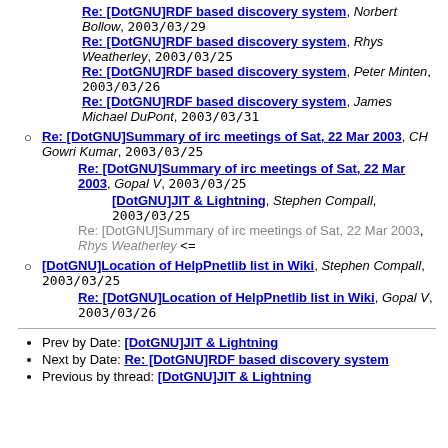Re: [DotGNU]RDF based discovery system, Norbert Bollow, 2003/03/29
Re: [DotGNU]RDF based discovery system, Rhys Weatherley, 2003/03/25
Re: [DotGNU]RDF based discovery system, Peter Minten, 2003/03/26
Re: [DotGNU]RDF based discovery system, James Michael DuPont, 2003/03/31
Re: [DotGNU]Summary of irc meetings of Sat, 22 Mar 2003, CH Gowri Kumar, 2003/03/25
Re: [DotGNU]Summary of irc meetings of Sat, 22 Mar 2003, Gopal V, 2003/03/25
[DotGNU]JIT & Lightning, Stephen Compall, 2003/03/25
Re: [DotGNU]Summary of irc meetings of Sat, 22 Mar 2003, Rhys Weatherley <=
[DotGNU]Location of HelpPnetlib list in Wiki, Stephen Compall, 2003/03/25
Re: [DotGNU]Location of HelpPnetlib list in Wiki, Gopal V, 2003/03/26
Prev by Date: [DotGNU]JIT & Lightning
Next by Date: Re: [DotGNU]RDF based discovery system
Previous by thread: [DotGNU]JIT & Lightning